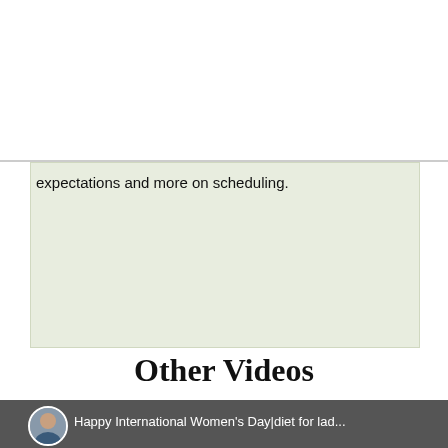[Figure (logo): HealthWatch logo with red apple shape with green leaves, text HEALTHWATCH in green and red, tagline Diet solutions for healthy living in red]
expectations and more on scheduling.
Other Videos
[Figure (screenshot): Video thumbnail showing Happy International Women's Day|diet for lad... with circular avatar of a woman]